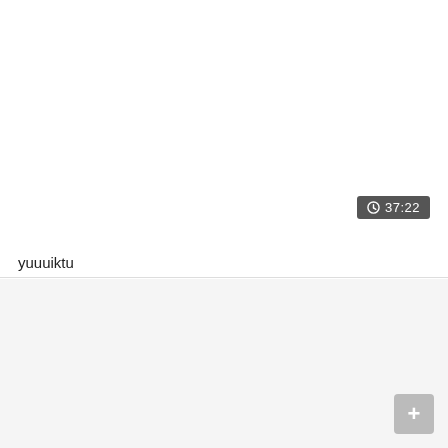[Figure (screenshot): Top white section of a UI panel, mostly blank white area with a dark timer badge showing a clock icon and '37:22' in the lower right corner.]
yuuuiktu
[Figure (screenshot): Bottom gray section of a UI panel, mostly blank with a gray plus (+) button in the lower right corner.]